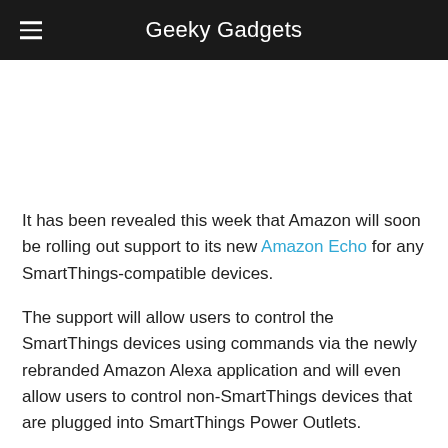Geeky Gadgets
It has been revealed this week that Amazon will soon be rolling out support to its new Amazon Echo for any SmartThings-compatible devices.
The support will allow users to control the SmartThings devices using commands via the newly rebranded Amazon Alexa application and will even allow users to control non-SmartThings devices that are plugged into SmartThings Power Outlets.
The news for the incoming Amazon Echo SmartThings support has spotted on a webpage on the SmartThings blog, which has